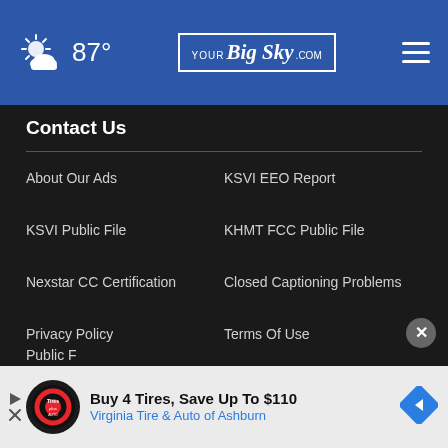87° YourBigSky.com
Contact Us
About Our Ads
KSVI EEO Report
KSVI Public File
KHMT FCC Public File
Nexstar CC Certification
Closed Captioning Problems
Privacy Policy
Terms Of Use
Do Not Sell My Personal Information
FCC Applications
Public F…
Buy 4 Tires, Save Up To $110 Virginia Tire & Auto of Ashburn